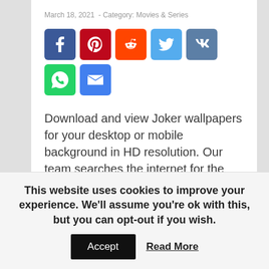March 18, 2021  -  Category: Movies & Series
[Figure (infographic): Social media sharing icons: Facebook (blue), Pinterest (red), Reddit (orange), Twitter (light blue), VK (steel blue), WhatsApp (green), Email (blue)]
Download and view Joker wallpapers for your desktop or mobile background in HD resolution. Our team searches the internet for the best and latest background wallpapers in HD quality. We try to bring you new posts about interesting or popular subjects containing new quality wallpapers every business day. Please use these images for personal and educational purposes
This website uses cookies to improve your experience. We'll assume you're ok with this, but you can opt-out if you wish. Accept  Read More